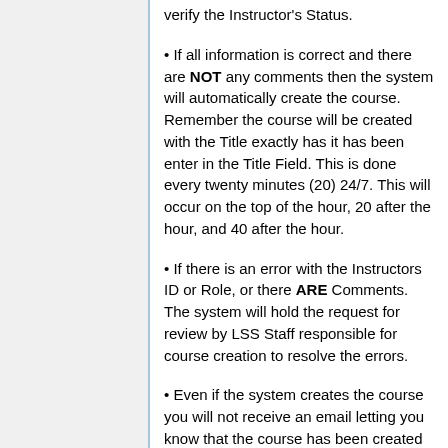verify the Instructor's Status.
If all information is correct and there are NOT any comments then the system will automatically create the course. Remember the course will be created with the Title exactly has it has been enter in the Title Field. This is done every twenty minutes (20) 24/7. This will occur on the top of the hour, 20 after the hour, and 40 after the hour.
If there is an error with the Instructors ID or Role, or there ARE Comments. The system will hold the request for review by LSS Staff responsible for course creation to resolve the errors.
Even if the system creates the course you will not receive an email letting you know that the course has been created until the LSS Staff member manually sends the email. This happens only during regular business hours.